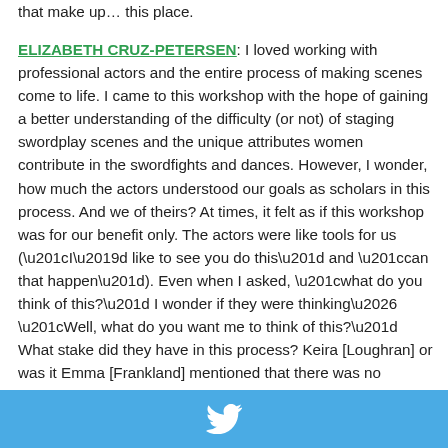that make up... this place.
ELIZABETH CRUZ-PETERSEN: I loved working with professional actors and the entire process of making scenes come to life. I came to this workshop with the hope of gaining a better understanding of the difficulty (or not) of staging swordplay scenes and the unique attributes women contribute in the swordfights and dances. However, I wonder, how much the actors understood our goals as scholars in this process. And we of theirs? At times, it felt as if this workshop was for our benefit only. The actors were like tools for us (“I’d like to see you do this” and “can that happen”). Even when I asked, “what do you think of this?” I wonder if they were thinking... “Well, what do you want me to think of this?” What stake did they have in this process? Keira [Loughran] or was it Emma [Frankland] mentioned that there was no production—there’s no end, there’s no investment in it; which makes sense
[Figure (logo): Twitter bird icon in white on a blue bar at the bottom of the page]